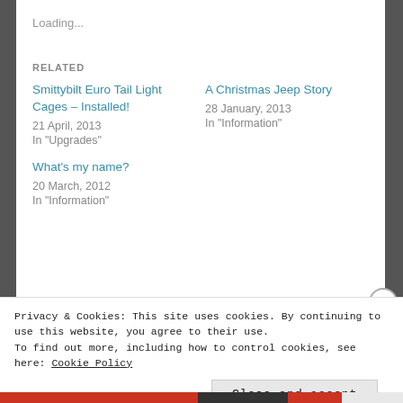Loading...
RELATED
Smittybilt Euro Tail Light Cages – Installed!
21 April, 2013
In "Upgrades"
A Christmas Jeep Story
28 January, 2013
In "Information"
What's my name?
20 March, 2012
In "Information"
Privacy & Cookies: This site uses cookies. By continuing to use this website, you agree to their use.
To find out more, including how to control cookies, see here: Cookie Policy
Close and accept